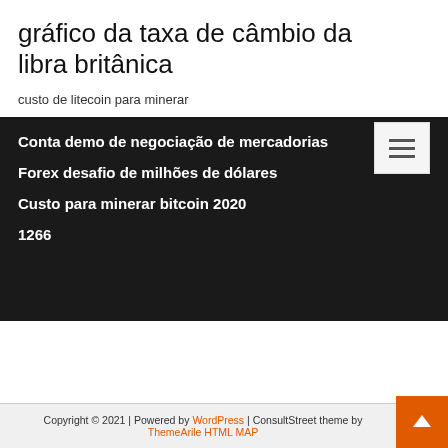gráfico da taxa de câmbio da libra britânica
custo de litecoin para minerar
Conta demo de negociação de mercadorias
Forex desafio de milhões de dólares
Custo para minerar bitcoin 2020
1266
Copyright © 2021 | Powered by WordPress | ConsultStreet theme by ThemeArile HTML MAP